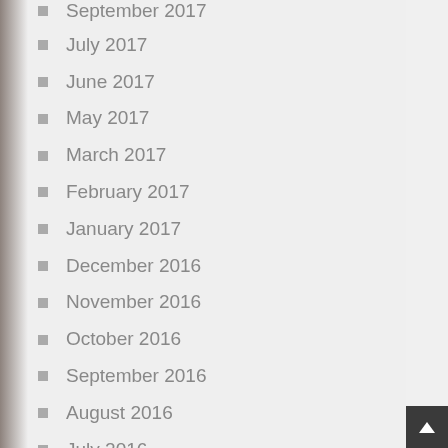September 2017
July 2017
June 2017
May 2017
March 2017
February 2017
January 2017
December 2016
November 2016
October 2016
September 2016
August 2016
July 2016
May 2016
March 2016
January 2016